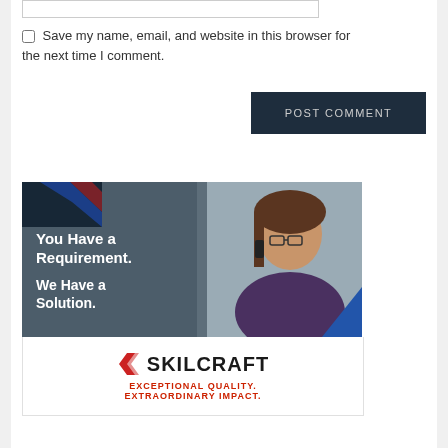Save my name, email, and website in this browser for the next time I comment.
POST COMMENT
[Figure (photo): Skilcraft advertisement showing a woman on the phone with text 'You Have a Requirement. We Have a Solution.' and the Skilcraft logo with tagline 'Exceptional Quality. Extraordinary Impact.']